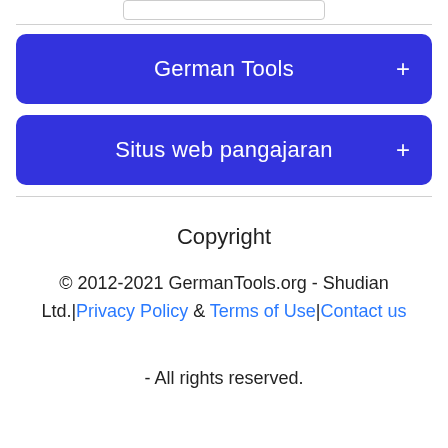[Figure (screenshot): Partial input field at top of page]
German Tools +
Situs web pangajaran +
Copyright
© 2012-2021 GermanTools.org - Shudian Ltd.|Privacy Policy & Terms of Use|Contact us
- All rights reserved.